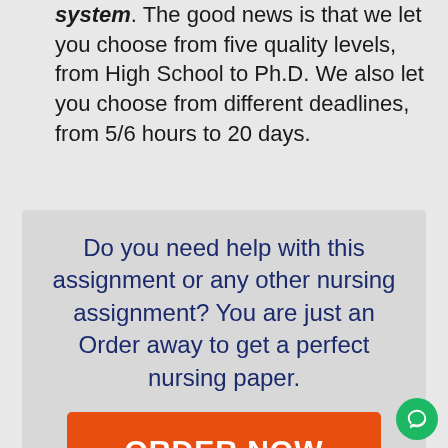We have a very flexible pricing system. The good news is that we let you choose from five quality levels, from High School to Ph.D. We also let you choose from different deadlines, from 5/6 hours to 20 days.
Do you need help with this assignment or any other nursing assignment? You are just an Order away to get a perfect nursing paper.
ORDER NOW